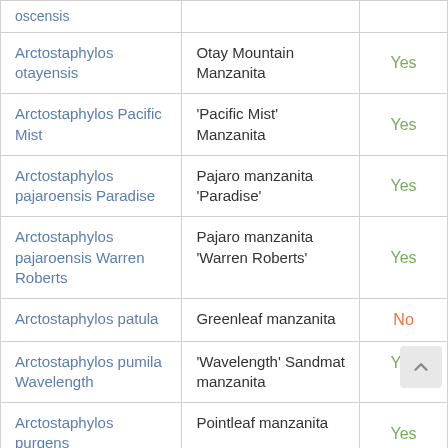| Scientific Name | Common Name | CA Native? |
| --- | --- | --- |
| oscensis |  |  |
| Arctostaphylos otayensis | Otay Mountain Manzanita | Yes |
| Arctostaphylos Pacific Mist | 'Pacific Mist' Manzanita | Yes |
| Arctostaphylos pajaroensis Paradise | Pajaro manzanita 'Paradise' | Yes |
| Arctostaphylos pajaroensis Warren Roberts | Pajaro manzanita 'Warren Roberts' | Yes |
| Arctostaphylos patula | Greenleaf manzanita | No |
| Arctostaphylos pumila Wavelength | 'Wavelength' Sandmat manzanita | Yes |
| Arctostaphylos purgens | Pointleaf manzanita | Yes |